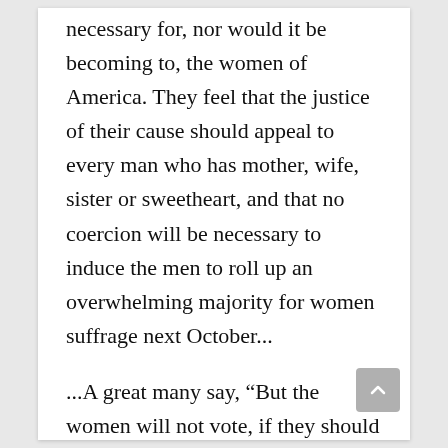necessary for, nor would it be becoming to, the women of America. They feel that the justice of their cause should appeal to every man who has mother, wife, sister or sweetheart, and that no coercion will be necessary to induce the men to roll up an overwhelming majority for women suffrage next October...
...A great many say, “But the women will not vote, if they should be given the right.” The best women will vote, however, for when a duty is imposed upon a good woman, she never shirks her responsibility. On an average,